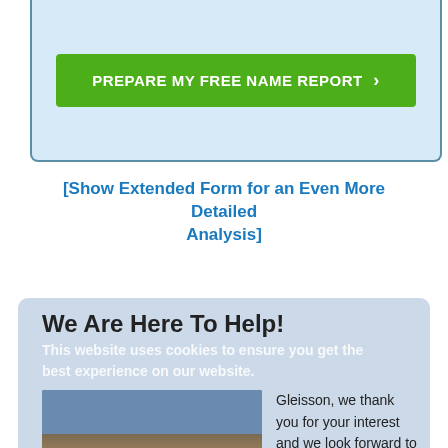[Figure (other): Light blue box with green button labeled PREPARE MY FREE NAME REPORT with right arrow]
[Show Extended Form for an Even More Detailed Analysis]
We Are Here To Help!
This website uses cookies to ensure you get the best experience on our website.
[Figure (photo): Group photo of approximately 10 people standing together indoors with a decorated background]
Gleisson, we thank you for your interest and we look forward to talking with you further about the